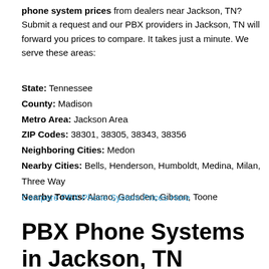phone system prices from dealers near Jackson, TN? Submit a request and our PBX providers in Jackson, TN will forward you prices to compare. It takes just a minute. We serve these areas:
State: Tennessee
County: Madison
Metro Area: Jackson Area
ZIP Codes: 38301, 38305, 38343, 38356
Neighboring Cities: Medon
Nearby Cities: Bells, Henderson, Humboldt, Medina, Milan, Three Way
Nearby Towns: Alamo, Gadsden, Gibson, Toone
Compare PBX Phone System Prices Here
PBX Phone Systems in Jackson, TN